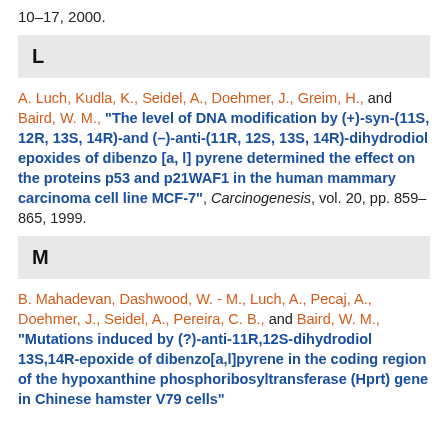10–17, 2000.
L
A. Luch, Kudla, K., Seidel, A., Doehmer, J., Greim, H., and Baird, W. M., "The level of DNA modification by (+)-syn-(11S, 12R, 13S, 14R)-and (–)-anti-(11R, 12S, 13S, 14R)-dihydrodiol epoxides of dibenzo [a, l] pyrene determined the effect on the proteins p53 and p21WAF1 in the human mammary carcinoma cell line MCF-7", Carcinogenesis, vol. 20, pp. 859–865, 1999.
M
B. Mahadevan, Dashwood, W. - M., Luch, A., Pecaj, A., Doehmer, J., Seidel, A., Pereira, C. B., and Baird, W. M., "Mutations induced by (?)-anti-11R,12S-dihydrodiol 13S,14R-epoxide of dibenzo[a,l]pyrene in the coding region of the hypoxanthine phosphoribosyltransferase (Hprt) gene in Chinese hamster V79 cells"